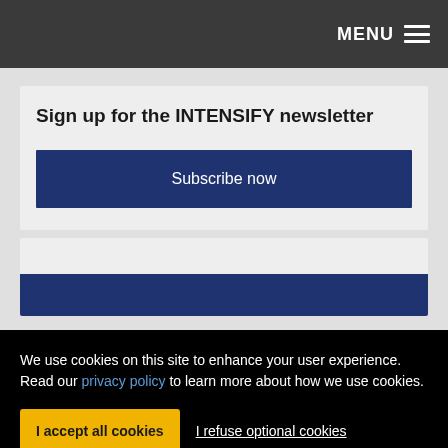MENU
Sign up for the INTENSIFY newsletter
Subscribe now
We use cookies on this site to enhance your user experience. Read our privacy policy to learn more about how we use cookies.
I accept all cookies
I refuse optional cookies